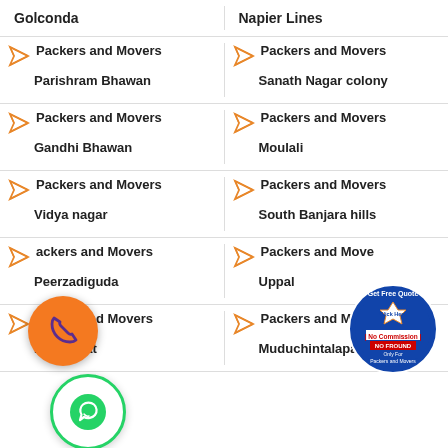Golconda | Napier Lines
Packers and Movers Parishram Bhawan | Packers and Movers Sanath Nagar colony
Packers and Movers Gandhi Bhawan | Packers and Movers Moulali
Packers and Movers Vidya nagar | Packers and Movers South Banjara hills
Packers and Movers Peerzadiguda | Packers and Movers Uppal
Packers and Movers Bazarghat | Packers and Movers Muduchintalapalli
[Figure (illustration): Orange phone call button circle and green WhatsApp button circle overlaid on page]
[Figure (logo): Get Free Quote badge - Click Here, No Commission, NO FRAUD, Only For Packers and Movers]